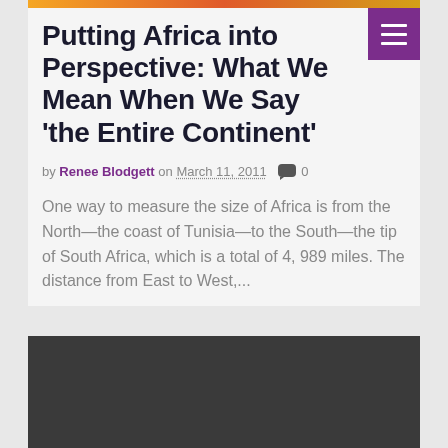Putting Africa into Perspective: What We Mean When We Say ‘the Entire Continent’
by Renee Blodgett on March 11, 2011  0
One way to measure the size of Africa is from the North—the coast of Tunisia—to the South—the tip of South Africa, which is a total of 4, 989 miles. The distance from East to West,...